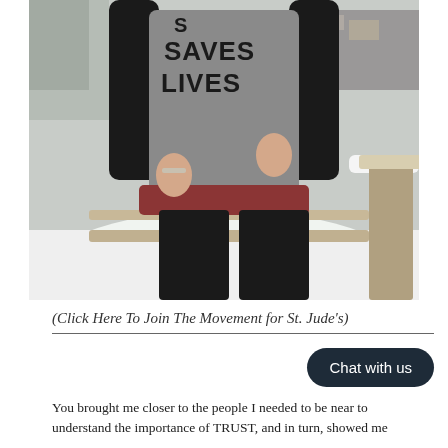[Figure (photo): A person wearing a gray shirt reading 'SAVES LIVES' with a black cardigan, red undershirt, and black leggings, standing outdoors in a snowy setting next to a wooden fence post.]
(Click Here To Join The Movement for St. Jude's)
You brought me closer to the people I needed to be near to understand the importance of TRUST, and in turn, showed me